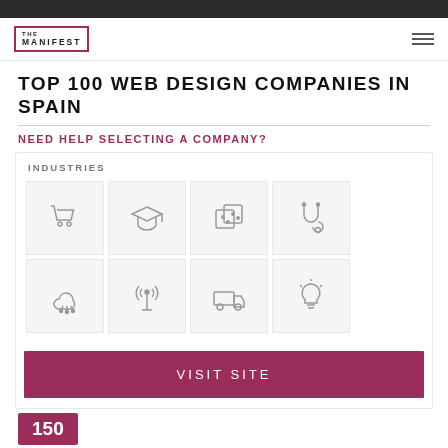THE MANIFEST
TOP 100 WEB DESIGN COMPANIES IN SPAIN
NEED HELP SELECTING A COMPANY?
INDUSTRIES
[Figure (infographic): Grid of 8 industry icons: shopping cart, graduation cap, dice/gaming, stethoscope/medical, cloud/tech, broadcast tower/telecom, delivery truck/logistics, lightbulb/ideas]
VISIT SITE
150